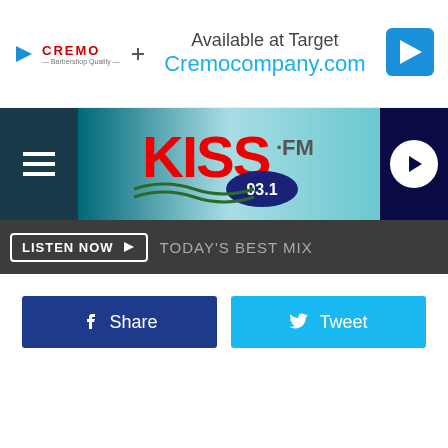[Figure (screenshot): Cremo advertisement banner: 'Available at Target' and 'Cremocompany.com' with Cremo logo and blue arrow icon]
[Figure (logo): KISS FM 93.1 radio station logo with navigation bar, hamburger menu on left and play button on right]
LISTEN NOW ▶  TODAY'S BEST MIX
f Share
Tweet